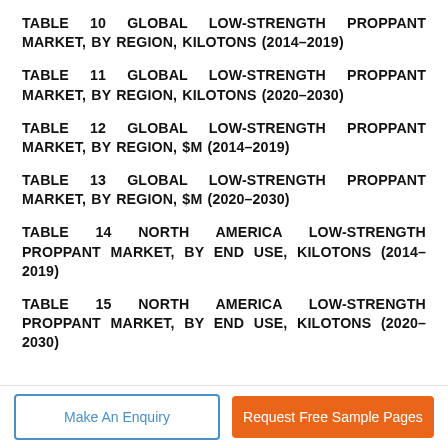TABLE 10 GLOBAL LOW-STRENGTH PROPPANT MARKET, BY REGION, KILOTONS (2014–2019)
TABLE 11 GLOBAL LOW-STRENGTH PROPPANT MARKET, BY REGION, KILOTONS (2020–2030)
TABLE 12 GLOBAL LOW-STRENGTH PROPPANT MARKET, BY REGION, $M (2014–2019)
TABLE 13 GLOBAL LOW-STRENGTH PROPPANT MARKET, BY REGION, $M (2020–2030)
TABLE 14 NORTH AMERICA LOW-STRENGTH PROPPANT MARKET, BY END USE, KILOTONS (2014–2019)
TABLE 15 NORTH AMERICA LOW-STRENGTH PROPPANT MARKET, BY END USE, KILOTONS (2020–2030)
Make An Enquiry
Request Free Sample Pages